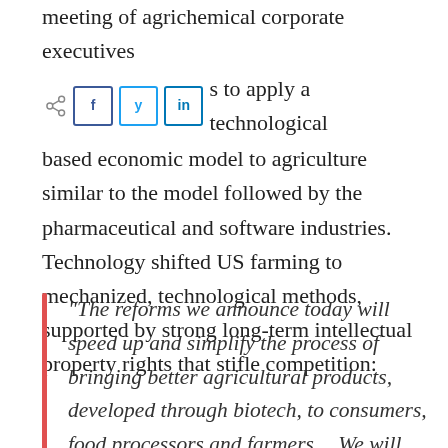meeting of agrichemical corporate executives who discuss to apply a technological based economic model to agriculture similar to the model followed by the pharmaceutical and software industries. Technology shifted US farming to mechanized, technological methods, supported by strong long-term intellectual property rights that stifle competition:
“The reforms we announce today will speed up and simplify the process of bringing better agricultural products, developed through biotech, to consumers, food processors and farmers… We will ensure that biotech products will receive the same oversight as